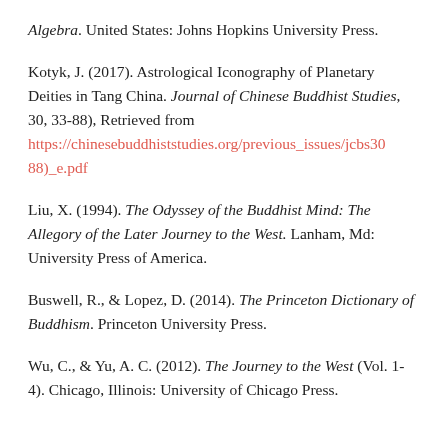Algebra. United States: Johns Hopkins University Press.
Kotyk, J. (2017). Astrological Iconography of Planetary Deities in Tang China. Journal of Chinese Buddhist Studies, 30, 33-88), Retrieved from https://chinesebuddhiststudies.org/previous_issues/jcbs30(33-88)_e.pdf
Liu, X. (1994). The Odyssey of the Buddhist Mind: The Allegory of the Later Journey to the West. Lanham, Md: University Press of America.
Buswell, R., & Lopez, D. (2014). The Princeton Dictionary of Buddhism. Princeton University Press.
Wu, C., & Yu, A. C. (2012). The Journey to the West (Vol. 1-4). Chicago, Illinois: University of Chicago Press.